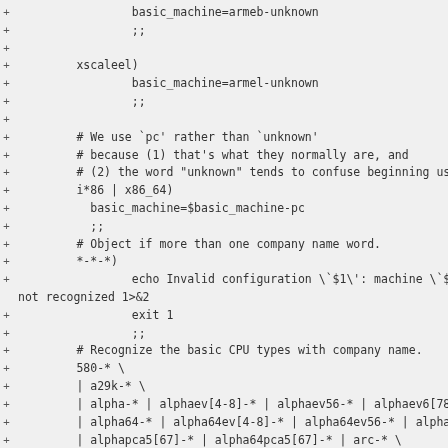+                 basic_machine=armeb-unknown
+                 ;;
+
+         xscaleel)
+                 basic_machine=armel-unknown
+                 ;;
+
+         # We use `pc' rather than `unknown'
+         # because (1) that's what they normally are, and
+         # (2) the word "unknown" tends to confuse beginning us
+         i*86 | x86_64)
+           basic_machine=$basic_machine-pc
+           ;;
+         # Object if more than one company name word.
+         *-*-*)
+                 echo Invalid configuration \`$1\': machine \`$
not recognized 1>&2
+                 exit 1
+                 ;;
+         # Recognize the basic CPU types with company name.
+         580-* \
+         | a29k-* \
+         | alpha-* | alphaev[4-8]-* | alphaev56-* | alphaev6[78
+         | alpha64-* | alpha64ev[4-8]-* | alpha64ev56-* | alpha
+         | alphapca5[67]-* | alpha64pca5[67]-* | arc-* \